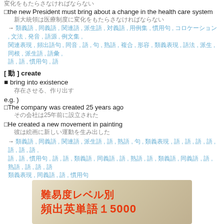変化をもたらさなければならない
□the new President must bring about a change in the health care system
新大統領は医療制度に変化をもたらさなければならない
→ 類義語リスト
[ 動 ] create
■ bring into existence
存在させる、作り出す
e.g. )
□The company was created 25 years ago
その会社は25年前に設立された
□He created a new movement in painting
彼は絵画に新しい運動を生み出した
→ 類義語リスト
[Figure (illustration): Banner advertisement showing '難易度レベル別 頻出英単語１5000' in red bold text on a book/paper background]